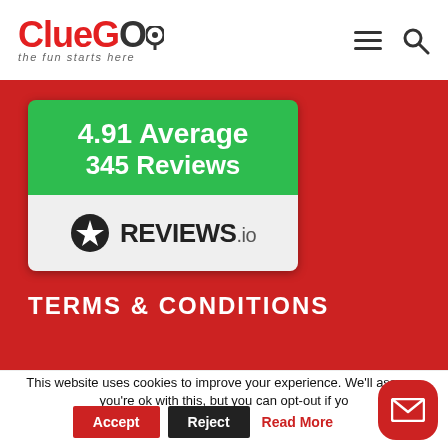ClueGO – the fun starts here
[Figure (other): Reviews.io widget showing 4.91 Average and 345 Reviews on a green banner, with REVIEWS.io logo on a light grey background]
TERMS & CONDITIONS
This website uses cookies to improve your experience. We'll assume you're ok with this, but you can opt-out if yo
Accept | Reject | Read More